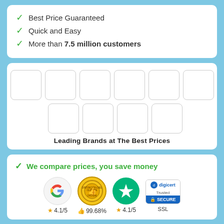✓ Best Price Guaranteed
✓ Quick and Easy
✓ More than 7.5 million customers
[Figure (infographic): Grid of 10 empty brand logo placeholder boxes arranged in two rows (6 on top, 4 on bottom), with caption 'Leading Brands at The Best Prices']
Leading Brands at The Best Prices
✓ We compare prices, you save money
[Figure (infographic): Trust badges row: Google logo with 4.1/5 stars, Opinion del Cliente medal with 99.68%, Trustpilot star with 4.1/5, DigiCert SSL Secure badge]
4.1/5   99.68%   4.1/5   SSL